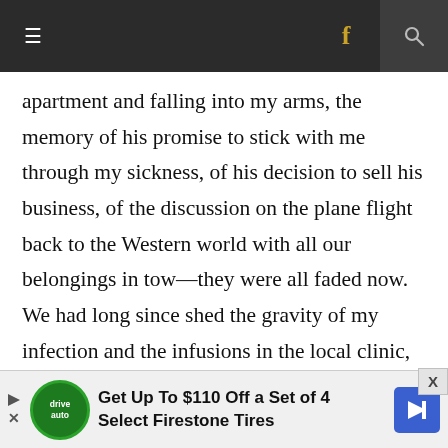≡  f  🔍
apartment and falling into my arms, the memory of his promise to stick with me through my sickness, of his decision to sell his business, of the discussion on the plane flight back to the Western world with all our belongings in tow—they were all faded now. We had long since shed the gravity of my infection and the infusions in the local clinic, the flights to a hospital in Bangkok, the slow deterioration of my body, for a lighter reality. Outside the courthouse in the small ski town where we made our next home, we had
[Figure (other): Advertisement banner: Get Up To $110 Off a Set of 4 Select Firestone Tires, with Firestone/DriveAuto logo and blue arrow icon]